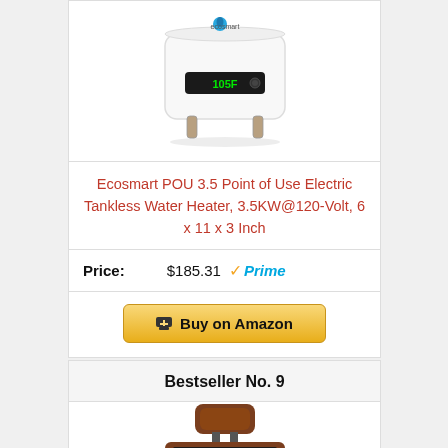[Figure (photo): Ecosmart POU 3.5 tankless water heater device, white rectangular unit with digital display showing 105F, two water inlet connectors at bottom, ecosmart branding with blue water drop logo]
Ecosmart POU 3.5 Point of Use Electric Tankless Water Heater, 3.5KW@120-Volt, 6 x 11 x 3 Inch
Price: $185.31 Prime
Buy on Amazon
Bestseller No. 9
[Figure (photo): Brown leather car seat cushion with black padding sections and headrest pillow attachment]